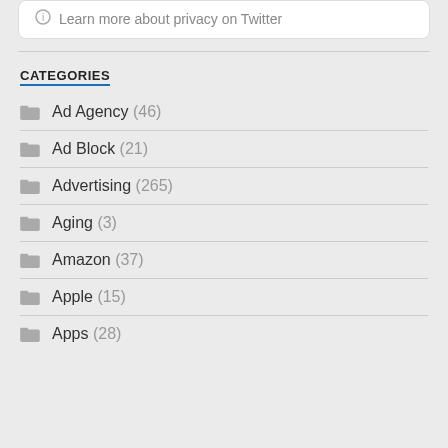Learn more about privacy on Twitter
CATEGORIES
Ad Agency (46)
Ad Block (21)
Advertising (265)
Aging (3)
Amazon (37)
Apple (15)
Apps (28)